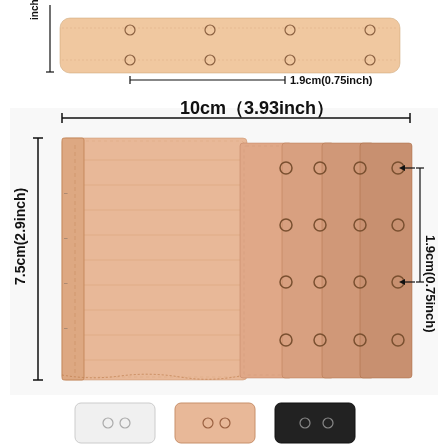[Figure (photo): Product dimension diagram showing a beige bra extender strip (top view) with measurement annotation: 1.9cm (0.75inch) width between hooks, and a partially visible vertical dimension on the left side. Below, a main product photo of multiple beige bra extenders fanned out showing dimensions: 10cm (3.93inch) width and 7.5cm (2.9inch) height and 1.9cm (0.75inch) hook spacing. At the bottom, three color swatches: white, beige/nude, and black bra extenders.]